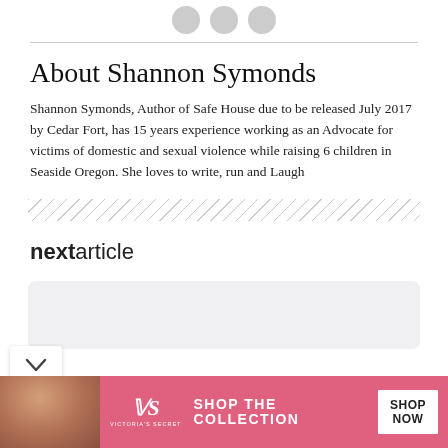[Figure (other): Three gray social media icon circles at the top of the page]
About Shannon Symonds
Shannon Symonds, Author of Safe House due to be released July 2017 by Cedar Fort, has 15 years experience working as an Advocate for victims of domestic and sexual violence while raising 6 children in Seaside Oregon. She loves to write, run and Laugh
[Figure (other): Hatched diagonal line divider]
nextarticle
[Figure (other): Light gray card box placeholder]
[Figure (other): Victoria's Secret advertisement banner with shop the collection call to action]